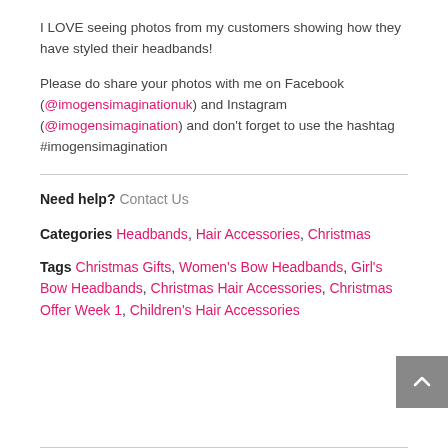I LOVE seeing photos from my customers showing how they have styled their headbands!
Please do share your photos with me on Facebook (@imogensimaginationuk) and Instagram (@imogensimagination) and don't forget to use the hashtag #imogensimagination
Need help?  Contact Us
Categories  Headbands, Hair Accessories, Christmas
Tags  Christmas Gifts, Women's Bow Headbands, Girl's Bow Headbands, Christmas Hair Accessories, Christmas Offer Week 1, Children's Hair Accessories